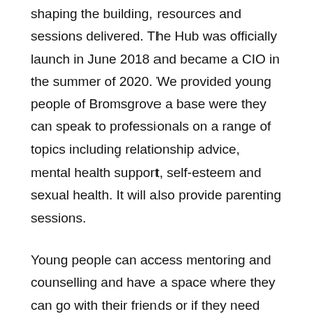shaping the building, resources and sessions delivered. The Hub was officially launch in June 2018 and became a CIO in the summer of 2020. We provided young people of Bromsgrove a base were they can speak to professionals on a range of topics including relationship advice, mental health support, self-esteem and sexual health. It will also provide parenting sessions.
Young people can access mentoring and counselling and have a space where they can go with their friends or if they need support. The Hub is benefitting the wider Bromsgrove